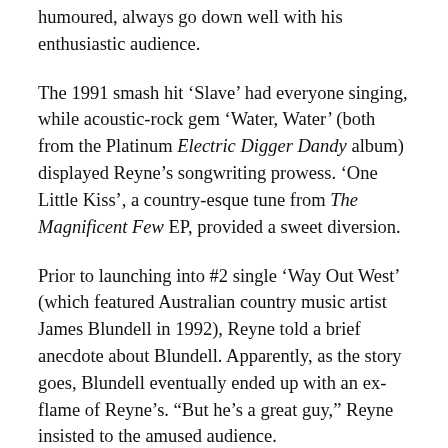...humoured, always go down well with his enthusiastic audience.
The 1991 smash hit ‘Slave’ had everyone singing, while acoustic-rock gem ‘Water, Water’ (both from the Platinum Electric Digger Dandy album) displayed Reyne’s songwriting prowess. ‘One Little Kiss’, a country-esque tune from The Magnificent Few EP, provided a sweet diversion.
Prior to launching into #2 single ‘Way Out West’ (which featured Australian country music artist James Blundell in 1992), Reyne told a brief anecdote about Blundell. Apparently, as the story goes, Blundell eventually ended up with an ex-flame of Reyne’s. “But he’s a great guy,” Reyne insisted to the amused audience.
Reyne’s latest album Toon Town Lullaby was released last year, and was mysteriously missing from the setlist. Last month, Reyne released a striking black and white music video for the song ‘Burning Books’ from Toon Town Lullaby, featuring images referencing climate change, which relate to the lyrical